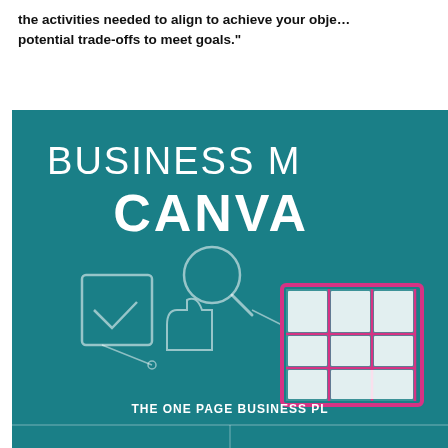the activities needed to align to achieve your objectives and potential trade-offs to meet goals.
[Figure (infographic): Business Model Canvas infographic on teal/dark cyan background showing the title 'BUSINESS MODEL CANVAS' with icons: checklist, magnifying glass, thumbs up, and a pink grid canvas diagram. Below is 'THE ONE PAGE BUSINESS PL...' with a two-column grid at the bottom.]